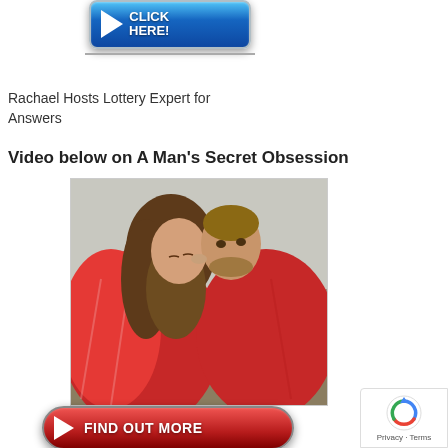[Figure (screenshot): Blue 'CLICK HERE!' button with white play arrow on left, white bold text on right, on a dark blue gradient background with silver border, followed by a horizontal line underneath]
Rachael Hosts Lottery Expert for Answers
Video below on A Man's Secret Obsession
[Figure (photo): A romantic couple — a woman with long curly red-brown hair and a bearded man — touching foreheads, wrapped together in a red plaid blanket, photographed outdoors]
[Figure (screenshot): Red rounded 'FIND OUT MORE' button with white play arrow on left, white bold uppercase text, on a dark red gradient background with silver border]
[Figure (other): Google reCAPTCHA badge showing blue/red spinning logo and 'Privacy · Terms' text]